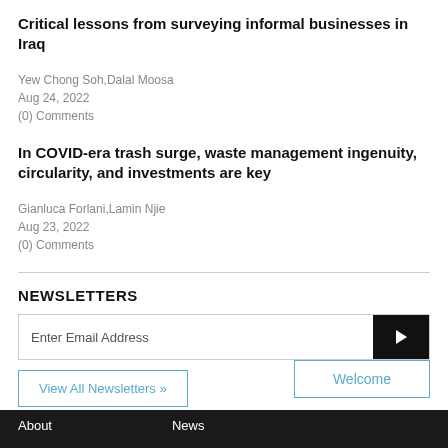Critical lessons from surveying informal businesses in Iraq
Yew Chong Soh,Dalal Moosa
Aug 24, 2022
(0) Comments
In COVID-era trash surge, waste management ingenuity, circularity, and investments are key
Gianluca Forlani,Lamin Njie
Aug 23, 2022
(0) Comments
NEWSLETTERS
Enter Email Address
View All Newsletters »
Welcome
About   News